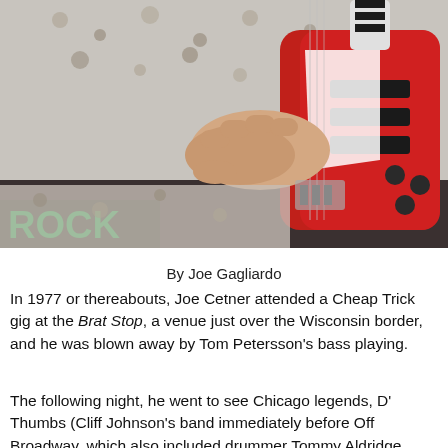[Figure (photo): Close-up photo of a person's hand playing a red electric guitar. The person is wearing a leopard-print shirt. A green neon sign partially visible on the left reads 'ROCK'. The guitar is red with white and black details and visible pickups.]
By Joe Gagliardo
In 1977 or thereabouts, Joe Cetner attended a Cheap Trick gig at the Brat Stop, a venue just over the Wisconsin border, and he was blown away by Tom Petersson's bass playing.
The following night, he went to see Chicago legends, D'Thumbs (Cliff Johnson's band immediately before Off Broadway, which also included drummer Tommy Aldridge